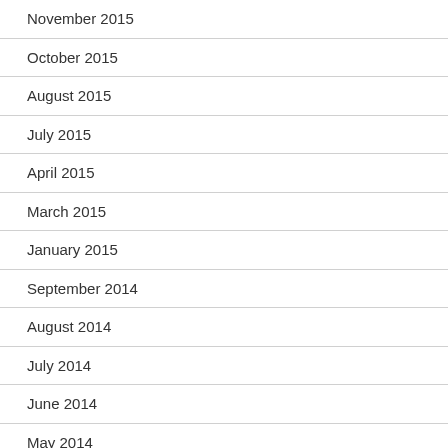November 2015
October 2015
August 2015
July 2015
April 2015
March 2015
January 2015
September 2014
August 2014
July 2014
June 2014
May 2014
April 2014